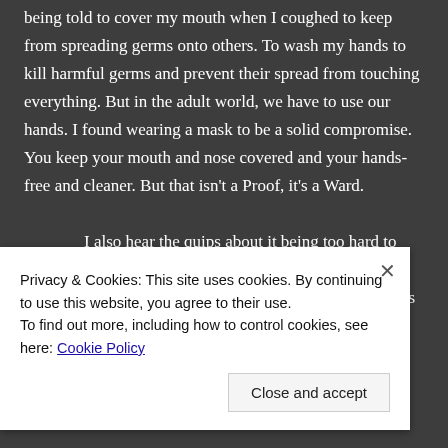being told to cover my mouth when I coughed to keep from spreading germs onto others. To wash my hands to kill harmful germs and prevent their spread from touching everything. But in the adult world, we have to use our hands. I found wearing a mask to be a solid compromise. You keep your mouth and nose covered and your hands-free and cleaner. But that isn't a Proof, it's a Ward.
I also hear the quips about it being too hard to breathe in a mask. I have asthma. It's severity comes and goes. I haven't had issues with it all calendar year but this time twelve months ago I couldn't go four hours without taking a few puffs from an inhaler. When
Privacy & Cookies: This site uses cookies. By continuing to use this website, you agree to their use.
To find out more, including how to control cookies, see here: Cookie Policy